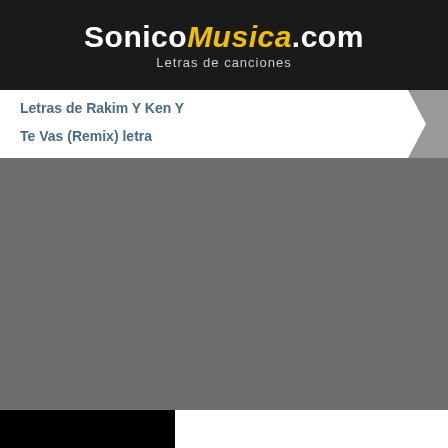SonicoMusica.com Letras de canciones
Letras de Rakim Y Ken Y
Te Vas (Remix) letra